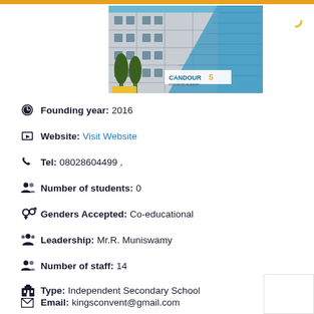[Figure (photo): Photo of Candour5 school building, a multi-storey structure with blue glass facade and trees in front]
Founding year: 2016
Website: Visit Website
Tel: 08028604499 ,
Number of students: 0
Genders Accepted: Co-educational
Leadership: Mr.R. Muniswamy
Number of staff: 14
Type: Independent Secondary School
Email: kingsconvent@gmail.com